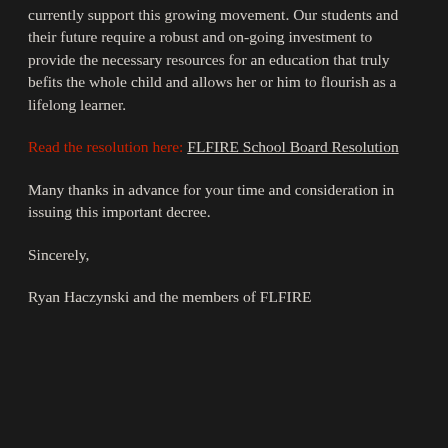currently support this growing movement. Our students and their future require a robust and on-going investment to provide the necessary resources for an education that truly befits the whole child and allows her or him to flourish as a lifelong learner.
Read the resolution here: FLFIRE School Board Resolution
Many thanks in advance for your time and consideration in issuing this important decree.
Sincerely,
Ryan Haczynski and the members of FLFIRE